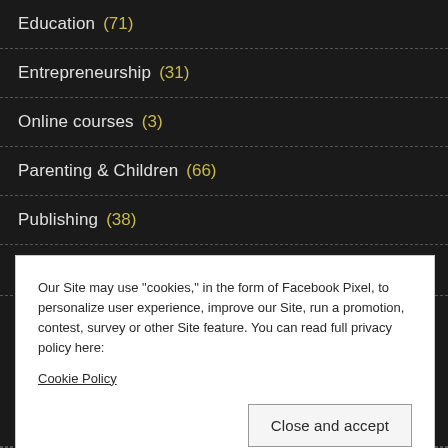Education (71)
Entrepreneurship (31)
Online courses (3)
Parenting & Children (66)
Publishing (38)
Social Media (5)
Our Site may use "cookies," in the form of Facebook Pixel, to personalize user experience, improve our Site, run a promotion, contest, survey or other Site feature. You can read full privacy policy here:
Cookie Policy
Close and accept
Writing (128)